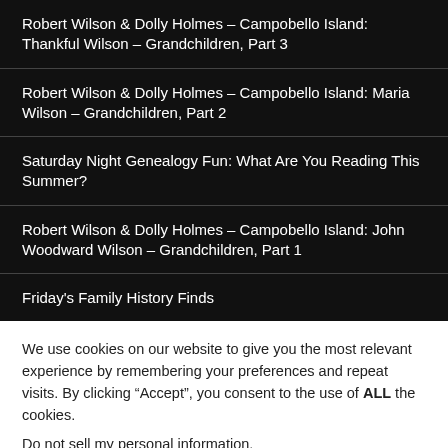Robert Wilson & Dolly Holmes – Campobello Island: Thankful Wilson – Grandchildren, Part 3
Robert Wilson & Dolly Holmes – Campobello Island: Maria Wilson – Grandchildren, Part 2
Saturday Night Genealogy Fun: What Are You Reading This Summer?
Robert Wilson & Dolly Holmes – Campobello Island: John Woodward Wilson – Grandchildren, Part 1
Friday's Family History Finds
We use cookies on our website to give you the most relevant experience by remembering your preferences and repeat visits. By clicking “Accept”, you consent to the use of ALL the cookies.
Do not sell my personal information.
Cookie settings  ACCEPT